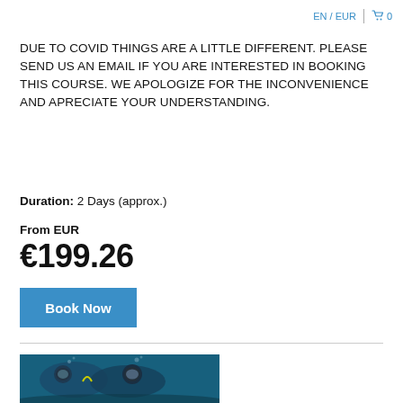EN / EUR  0
DUE TO COVID THINGS ARE A LITTLE DIFFERENT. PLEASE SEND US AN EMAIL IF YOU ARE INTERESTED IN BOOKING THIS COURSE. WE APOLOGIZE FOR THE INCONVENIENCE AND APRECIATE YOUR UNDERSTANDING.
Duration: 2 Days (approx.)
From EUR
€199.26
Book Now
[Figure (photo): Two scuba divers underwater, wearing diving masks and equipment, in blue water near the seabed.]